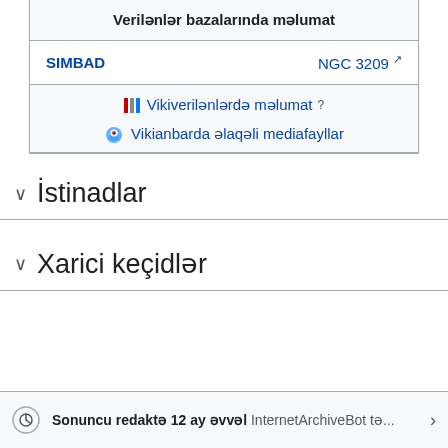|  | Verilənlər bazalarında məlumat |
| --- | --- |
| SIMBAD | NGC 3209 ↗ |
|  | Vikiverilənlərdə məlumat ? |
|  | Vikianbarda əlaqəli mediafayllar |
✓ İstinadlar
✓ Xarici keçidlər
Sonuncu redaktə 12 ay əvvəl InternetArchiveBot tə...